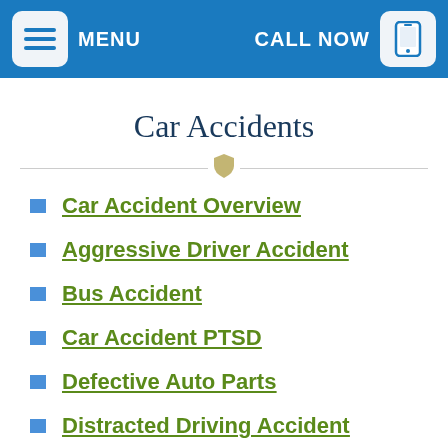MENU | CALL NOW
Car Accidents
Car Accident Overview
Aggressive Driver Accident
Bus Accident
Car Accident PTSD
Defective Auto Parts
Distracted Driving Accident
Drunk Driving Accident
Fatigued Driver Accident
Hit And Run Accident